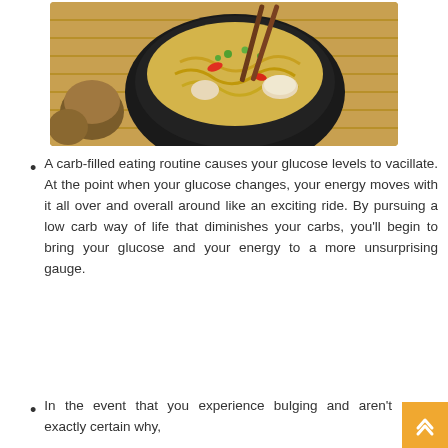[Figure (photo): A bowl of noodles with mushrooms, red peppers, green onions, and chopsticks on a bamboo mat background]
A carb-filled eating routine causes your glucose levels to vacillate. At the point when your glucose changes, your energy moves with it all over and overall around like an exciting ride. By pursuing a low carb way of life that diminishes your carbs, you'll begin to bring your glucose and your energy to a more unsurprising gauge.
In the event that you experience bulging and aren't exactly certain why,